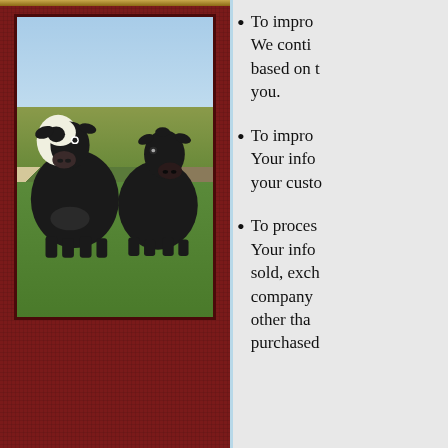[Figure (photo): Two black cows (one with white and black markings, one all-black) standing in a green field with sky background.]
To improve your experience. We continue to update based on the information you.
To improve your service. Your information helps with your customer experience.
To process transactions. Your information will not be sold, exchanged or transferred to any other company for any reason whatsoever, other than for the express purpose of delivering the purchased product or service requested.